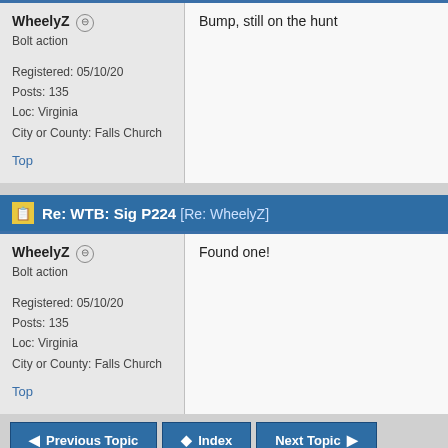WheelyZ — Bolt action
Registered: 05/10/20
Posts: 135
Loc: Virginia
City or County: Falls Church
Top
Bump, still on the hunt
Re: WTB: Sig P224 [Re: WheelyZ]
WheelyZ — Bolt action
Registered: 05/10/20
Posts: 135
Loc: Virginia
City or County: Falls Church
Top
Found one!
Previous Topic   Index   Next Topic
Hop to:
Handguns - want to buy